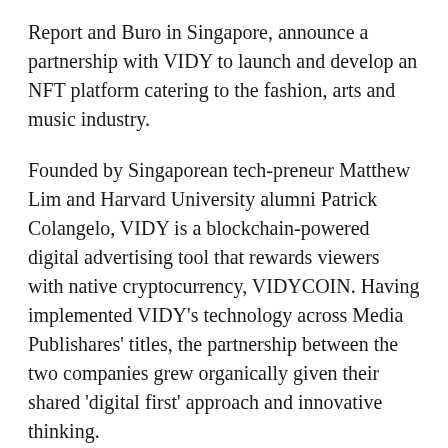Report and Buro in Singapore, announce a partnership with VIDY to launch and develop an NFT platform catering to the fashion, arts and music industry.
Founded by Singaporean tech-preneur Matthew Lim and Harvard University alumni Patrick Colangelo, VIDY is a blockchain-powered digital advertising tool that rewards viewers with native cryptocurrency, VIDYCOIN. Having implemented VIDY's technology across Media Publishares' titles, the partnership between the two companies grew organically given their shared 'digital first' approach and innovative thinking.
The NFT platform – slated to launch in Q3 of 2021 – celebrates arts and culture within a 360-degree navigable virtual environment showcasing digital fashion, art, music and design. Key features of the platform include minting,